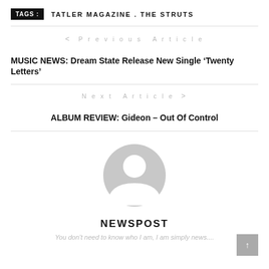TAGS :  TATLER MAGAZINE . THE STRUTS
< Previous Article
MUSIC NEWS: Dream State Release New Single ‘Twenty Letters’
Next Article >
ALBUM REVIEW: Gideon – Out Of Control
[Figure (illustration): Generic grey user avatar icon (circle with person silhouette)]
NEWSPOST
You don't need to know who I am, I am simply news....